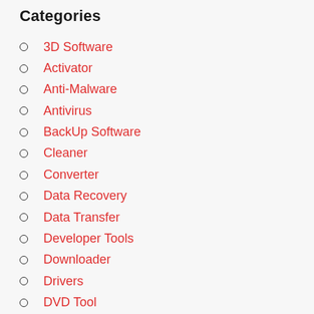Categories
3D Software
Activator
Anti-Malware
Antivirus
BackUp Software
Cleaner
Converter
Data Recovery
Data Transfer
Developer Tools
Downloader
Drivers
DVD Tool
Editor